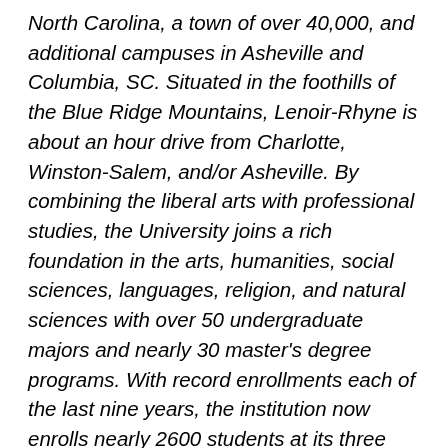North Carolina, a town of over 40,000, and additional campuses in Asheville and Columbia, SC. Situated in the foothills of the Blue Ridge Mountains, Lenoir-Rhyne is about an hour drive from Charlotte, Winston-Salem, and/or Asheville. By combining the liberal arts with professional studies, the University joins a rich foundation in the arts, humanities, social sciences, languages, religion, and natural sciences with over 50 undergraduate majors and nearly 30 master's degree programs. With record enrollments each of the last nine years, the institution now enrolls nearly 2600 students at its three locales, and it anticipates continued managed enrollment growth over the coming years as it expands upon its mission.